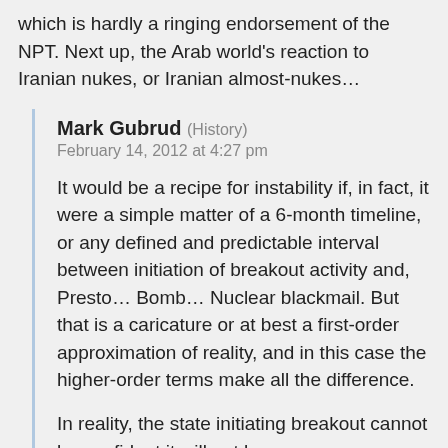which is hardly a ringing endorsement of the NPT. Next up, the Arab world's reaction to Iranian nukes, or Iranian almost-nukes…
Mark Gubrud (History)
February 14, 2012 at 4:27 pm
It would be a recipe for instability if, in fact, it were a simple matter of a 6-month timeline, or any defined and predictable interval between initiation of breakout activity and, Presto… Bomb… Nuclear blackmail. But that is a caricature or at best a first-order approximation of reality, and in this case the higher-order terms make all the difference.
In reality, the state initiating breakout cannot be confident it will not be